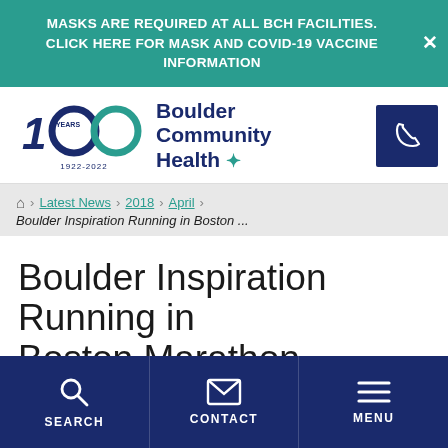MASKS ARE REQUIRED AT ALL BCH FACILITIES. CLICK HERE FOR MASK AND COVID-19 VACCINE INFORMATION
[Figure (logo): Boulder Community Health 100 Years 1922-2022 logo with teal circular design and dark blue text]
Latest News > 2018 > April > Boulder Inspiration Running in Boston ...
Boulder Inspiration Running in Boston Marathon
SEARCH   CONTACT   MENU